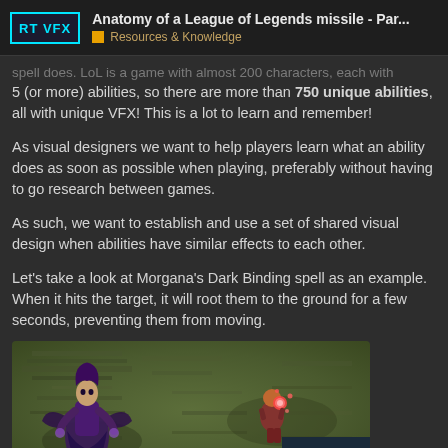Anatomy of a League of Legends missile - Par... | Resources & Knowledge
spell does. LoL is a game with almost 200 characters, each with 5 (or more) abilities, so there are more than 750 unique abilities, all with unique VFX! This is a lot to learn and remember!
As visual designers we want to help players learn what an ability does as soon as possible when playing, preferably without having to go research between games.
As such, we want to establish and use a set of shared visual design when abilities have similar effects to each other.
Let's take a look at Morgana's Dark Binding spell as an example. When it hits the target, it will root them to the ground for a few seconds, preventing them from moving.
[Figure (screenshot): Game screenshot showing Morgana champion (purple robed figure on left) and a target champion (small figure on right) on the League of Legends game map, with a pagination overlay showing 1/12]